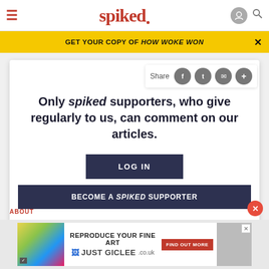spiked
GET YOUR COPY OF HOW WOKE WON
Only spiked supporters, who give regularly to us, can comment on our articles.
LOG IN
BECOME A SPIKED SUPPORTER
[Figure (screenshot): Advertisement banner: REPRODUCE YOUR FINE ART - JUST GICLEE.co.uk with FIND OUT MORE button]
ABOUT